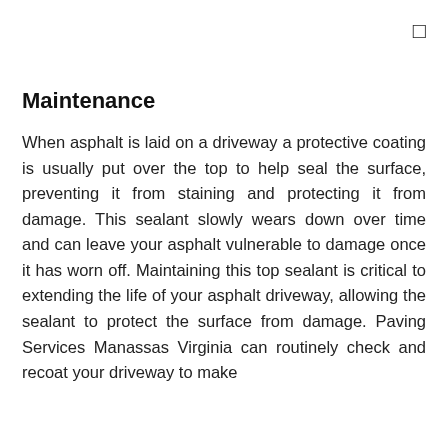□
Maintenance
When asphalt is laid on a driveway a protective coating is usually put over the top to help seal the surface, preventing it from staining and protecting it from damage. This sealant slowly wears down over time and can leave your asphalt vulnerable to damage once it has worn off. Maintaining this top sealant is critical to extending the life of your asphalt driveway, allowing the sealant to protect the surface from damage. Paving Services Manassas Virginia can routinely check and recoat your driveway to make